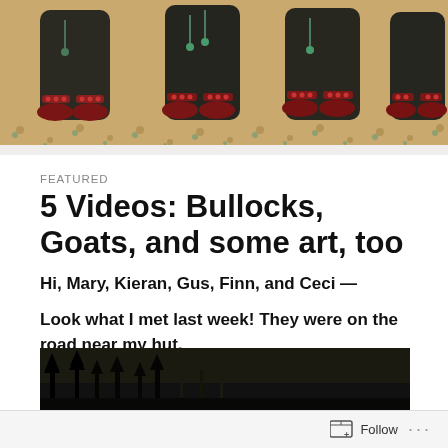[Figure (photo): Cropped view of an ancient painted artwork showing lower portions of decorative figures with ornate footwear and anklets, on an ochre/tan background with decorative dot patterns]
FEATURED
5 Videos: Bullocks, Goats, and some art, too
Hi, Mary, Kieran, Gus, Finn, and Ceci —
Look what I met last week! They were on the road near my hut.
[Figure (photo): Dark photograph showing silhouettes of trees against a dark background, partially visible at bottom of page]
Follow ...